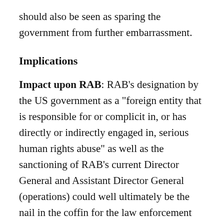should also be seen as sparing the government from further embarrassment.
Implications
Impact upon RAB: RAB’s designation by the US government as a “foreign entity that is responsible for or complicit in, or has directly or indirectly engaged in, serious human rights abuse” as well as the sanctioning of RAB’s current Director General and Assistant Director General (operations) could well ultimately be the nail in the coffin for the law enforcement unit. Who will now want to be seconded into RAB? Army officers are in